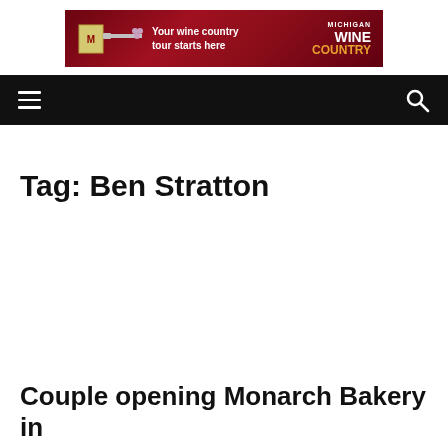[Figure (other): Michigan Wine Country banner advertisement showing a wine bottle graphic with yellow Michigan state label, text 'Your wine country tour starts here' and 'MICHIGAN WINE COUNTRY' logo on dark red background]
Navigation bar with hamburger menu icon and search icon
Tag: Ben Stratton
Couple opening Monarch Bakery in